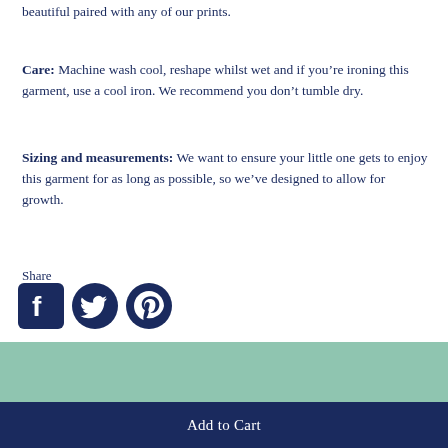beautiful paired with any of our prints.
Care: Machine wash cool, reshape whilst wet and if you’re ironing this garment, use a cool iron. We recommend you don’t tumble dry.
Sizing and measurements: We want to ensure your little one gets to enjoy this garment for as long as possible, so we’ve designed to allow for growth.
Share
[Figure (other): Social media share icons: Facebook, Twitter, Pinterest]
Add to Cart